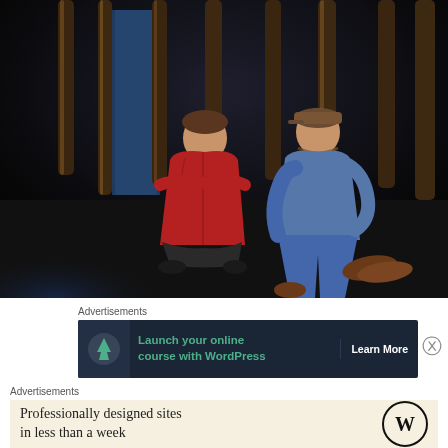[Figure (photo): Theater stage photo of two people sitting on a dark floor with tree trunks in the background. Person on left wears a red hoodie and sits cross-legged; person on right wears a cap and denim jacket and sits with knees up.]
Advertisements
[Figure (screenshot): Advertisement banner: dark background with tree icon, green text 'Launch your online course with WordPress' and 'Learn More' button.]
Advertisements
[Figure (screenshot): Advertisement on beige background: 'Professionally designed sites in less than a week' with WordPress logo (W in circle).]